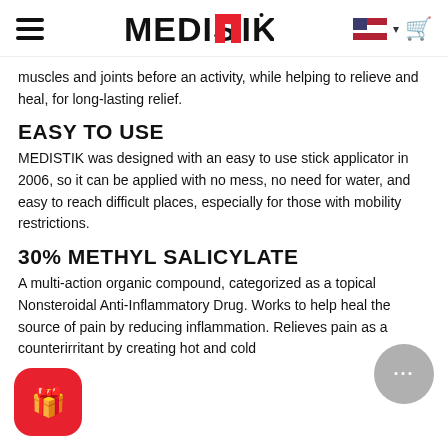MEDISTIK
muscles and joints before an activity, while helping to relieve and heal, for long-lasting relief.
EASY TO USE
MEDISTIK was designed with an easy to use stick applicator in 2006, so it can be applied with no mess, no need for water, and easy to reach difficult places, especially for those with mobility restrictions.
30% METHYL SALICYLATE
A multi-action organic compound, categorized as a topical Nonsteroidal Anti-Inflammatory Drug. Works to help heal the source of pain by reducing inflammation. Relieves pain as a counterirritant by creating hot and cold